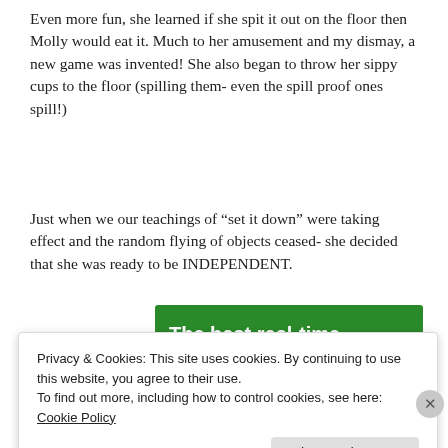Even more fun, she learned if she spit it out on the floor then Molly would eat it. Much to her amusement and my dismay, a new game was invented! She also began to throw her sippy cups to the floor (spilling them- even the spill proof ones spill!)
Just when we our teachings of “set it down” were taking effect and the random flying of objects ceased- she decided that she was ready to be INDEPENDENT.
[Figure (screenshot): Green advertisement banner reading 'The best real-time WordPress backup plugin' with a white button partially visible at the bottom.]
Privacy & Cookies: This site uses cookies. By continuing to use this website, you agree to their use.
To find out more, including how to control cookies, see here: Cookie Policy
Close and accept